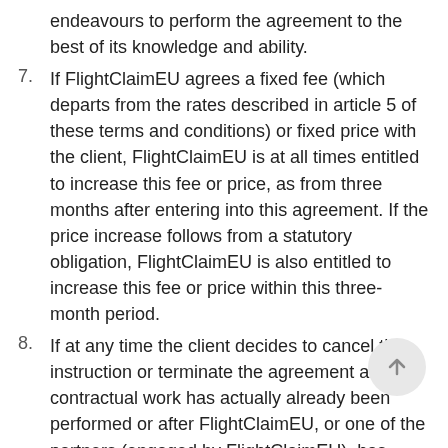endeavours to perform the agreement to the best of its knowledge and ability.
7. If FlightClaimEU agrees a fixed fee (which departs from the rates described in article 5 of these terms and conditions) or fixed price with the client, FlightClaimEU is at all times entitled to increase this fee or price, as from three months after entering into this agreement. If the price increase follows from a statutory obligation, FlightClaimEU is also entitled to increase this fee or price within this three-month period.
8. If at any time the client decides to cancel the instruction or terminate the agreement after contractual work has actually already been performed or after FlightClaimEU, or one of the partners (engaged by FlightClaimEU), has commenced legal proceedings at the Court, FlightClaimEU is entitled to charge the client